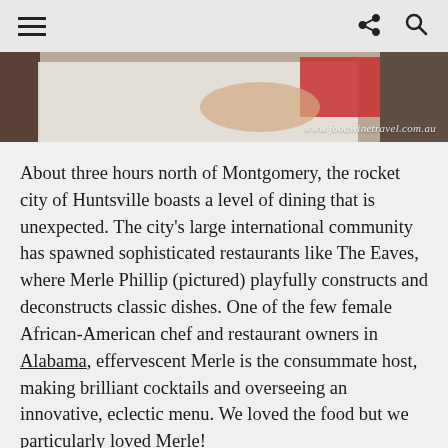≡  [share icon]  [search icon]
[Figure (photo): Cropped photo of a person in white clothing, partially visible. Watermark reads www.foodwinetravel.com.au]
About three hours north of Montgomery, the rocket city of Huntsville boasts a level of dining that is unexpected. The city's large international community has spawned sophisticated restaurants like The Eaves, where Merle Phillip (pictured) playfully constructs and deconstructs classic dishes. One of the few female African-American chef and restaurant owners in Alabama, effervescent Merle is the consummate host, making brilliant cocktails and overseeing an innovative, eclectic menu. We loved the food but we particularly loved Merle!